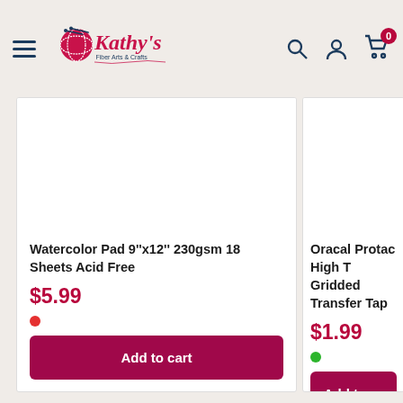Kathy's Fiber Arts & Crafts – navigation header with hamburger menu, logo, search, account, and cart icons
[Figure (screenshot): Product card: Watercolor Pad 9''x12'' 230gsm 18 Sheets Acid Free, $5.99, red stock dot, Add to cart button]
Watercolor Pad 9''x12'' 230gsm 18 Sheets Acid Free
$5.99
[Figure (screenshot): Product card (partial): Oracal Protac High T... Gridded Transfer Tap..., $1.99, green stock dot, Add to... button]